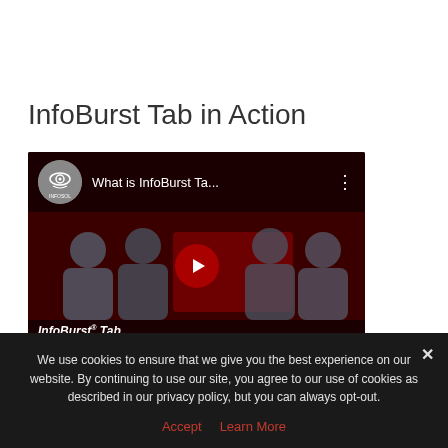InfoBurst Tab in Action
[Figure (screenshot): YouTube video embed thumbnail showing 'What is InfoBurst Ta...' video from InfoSol channel, with play button and people silhouettes on dark red background, with 'InfoBurst Tab' text overlay at bottom]
We use cookies to ensure that we give you the best experience on our website. By continuing to use our site, you agree to our use of cookies as described in our privacy policy, but you can always opt-out.
Accept   Learn More